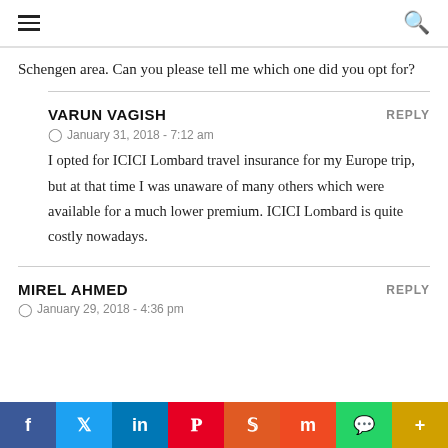Schengen area. Can you please tell me which one did you opt for?
VARUN VAGISH
January 31, 2018 - 7:12 am
I opted for ICICI Lombard travel insurance for my Europe trip, but at that time I was unaware of many others which were available for a much lower premium. ICICI Lombard is quite costly nowadays.
MIREL AHMED
January 29, 2018 - 4:36 pm